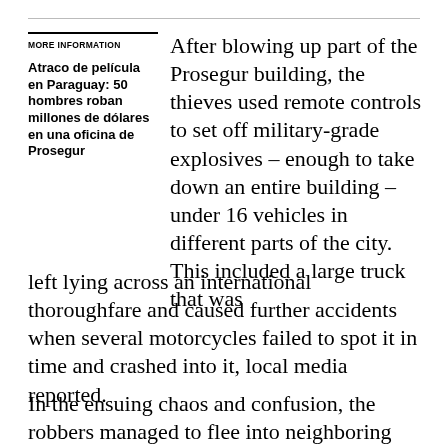MORE INFORMATION
Atraco de película en Paraguay: 50 hombres roban millones de dólares en una oficina de Prosegur
After blowing up part of the Prosegur building, the thieves used remote controls to set off military-grade explosives – enough to take down an entire building – under 16 vehicles in different parts of the city. This included a large truck that was left lying across an international thoroughfare and caused further accidents when several motorcycles failed to spot it in time and crashed into it, local media reported.
In the ensuing chaos and confusion, the robbers managed to flee into neighboring